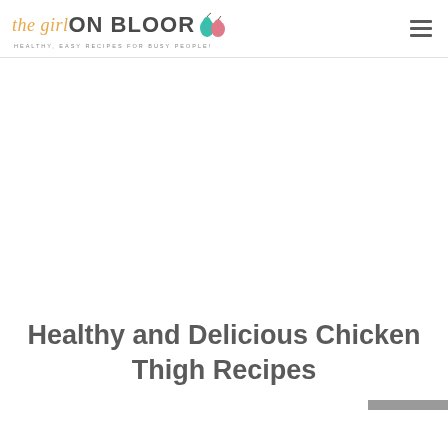the girl ON BLOOR — HEALTHY, EASY RECIPES FOR BUSY PEOPLE!
[Figure (photo): Large white/blank content area below the header, appearing to be an image placeholder or advertisement space]
Healthy and Delicious Chicken Thigh Recipes
[Figure (photo): Partial gray bar element at the bottom right of the page, likely a scroll bar or UI element]